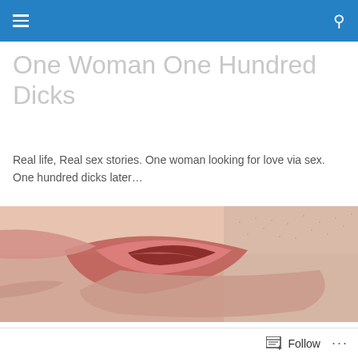Navigation bar with menu and search icons
One Woman One Hundred Dicks
Real life, Real sex stories. One woman looking for love via sex. One hundred dicks later…
[Figure (photo): Close-up macro photo of two sets of lips kissing]
Celebrity Sex On The Beach
Follow